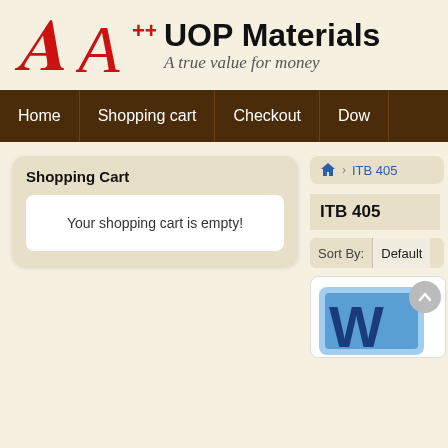[Figure (logo): A++ UOP Materials logo with red italic A and plusplus, black bold UOP Materials text, and gray italic tagline 'A true value for money']
Home | Shopping cart | Checkout | Dow...
Shopping Cart
Your shopping cart is empty!
[Figure (screenshot): Breadcrumb navigation showing home icon and ITB 405]
ITB 405
Sort By: Default
[Figure (screenshot): Partial product box showing scroll-to-top button and Word document icon W]